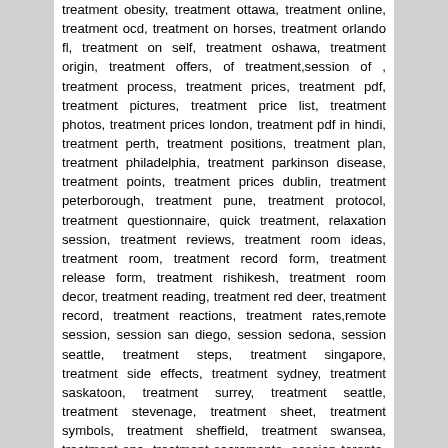treatment obesity, treatment ottawa, treatment online, treatment ocd, treatment on horses, treatment orlando fl, treatment on self, treatment oshawa, treatment origin, treatment offers, of treatment,session of , treatment process, treatment prices, treatment pdf, treatment pictures, treatment price list, treatment photos, treatment prices london, treatment pdf in hindi, treatment perth, treatment positions, treatment plan, treatment philadelphia, treatment parkinson disease, treatment points, treatment prices dublin, treatment peterborough, treatment pune, treatment protocol, treatment questionnaire, quick treatment, relaxation session, treatment reviews, treatment room ideas, treatment room, treatment record form, treatment release form, treatment rishikesh, treatment room decor, treatment reading, treatment red deer, treatment record, treatment reactions, treatment rates,remote session, session san diego, session sedona, session seattle, treatment steps, treatment singapore, treatment side effects, treatment sydney, treatment saskatoon, treatment surrey, treatment seattle, treatment stevenage, treatment sheet, treatment symbols, treatment sheffield, treatment swansea, treatment spa, treatment sacramento, session toronto, treatment toronto, treatment tables, treatment tables uk, treatment testimonials, treatment techniques, treatment